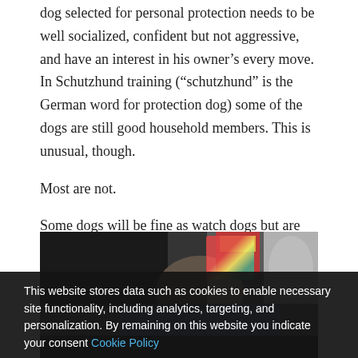dog selected for personal protection needs to be well socialized, confident but not aggressive, and have an interest in his owner's every move. In Schutzhund training (“schutzhund” is the German word for protection dog) some of the dogs are still good household members. This is unusual, though.
Most are not.
Some dogs will be fine as watch dogs but are not built for personal protection.
[Figure (photo): A partial photo showing a person sitting, wearing dark clothing and jeans, with a colorful item and decorative objects visible in the background. The lower portion is obscured by the cookie consent banner.]
This website stores data such as cookies to enable necessary site functionality, including analytics, targeting, and personalization. By remaining on this website you indicate your consent Cookie Policy Agree